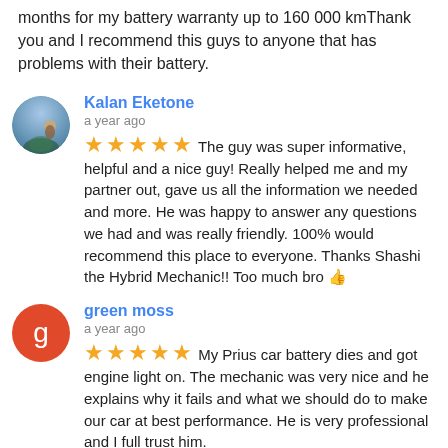months for my battery warranty up to 160 000 kmThank you and I recommend this guys to anyone that has problems with their battery.
Kalan Eketone
a year ago
★★★★★ The guy was super informative, helpful and a nice guy! Really helped me and my partner out, gave us all the information we needed and more. He was happy to answer any questions we had and was really friendly. 100% would recommend this place to everyone. Thanks Shashi the Hybrid Mechanic!! Too much bro 👍
green moss
a year ago
★★★★★ My Prius car battery dies and got engine light on. The mechanic was very nice and he explains why it fails and what we should do to make our car at best performance. He is very professional and I full trust him.
Andrei Nakagawa
a year ago